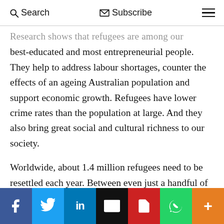Search  Subscribe
Research shows that refugees are among our best-educated and most entrepreneurial people. They help to address labour shortages, counter the effects of an ageing Australian population and support economic growth. Refugees have lower crime rates than the population at large. And they also bring great social and cultural richness to our society.
Worldwide, about 1.4 million refugees need to be resettled each year. Between even just a handful of countries, this is completely manageable. It's less than 0.5 per cent of the population of the